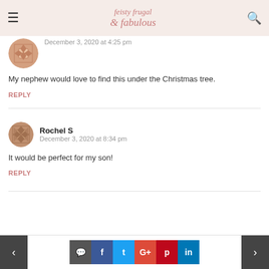feisty frugal fabulous
December 3, 2020 at 4:25 pm
My nephew would love to find this under the Christmas tree.
REPLY
Rochel S
December 3, 2020 at 8:34 pm
It would be perfect for my son!
REPLY
< comment f t G+ p in >